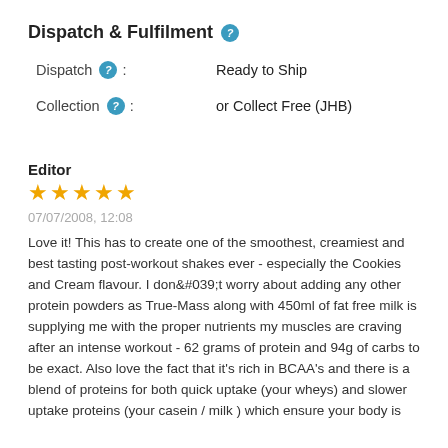Dispatch & Fulfilment
Dispatch : Ready to Ship
Collection : or Collect Free (JHB)
Editor
★★★★★
07/07/2008, 12:08
Love it! This has to create one of the smoothest, creamiest and best tasting post-workout shakes ever - especially the Cookies and Cream flavour. I don&#039;t worry about adding any other protein powders as True-Mass along with 450ml of fat free milk is supplying me with the proper nutrients my muscles are craving after an intense workout - 62 grams of protein and 94g of carbs to be exact. Also love the fact that it's rich in BCAA's and there is a blend of proteins for both quick uptake (your wheys) and slower uptake proteins (your casein / milk ) which ensure your body is